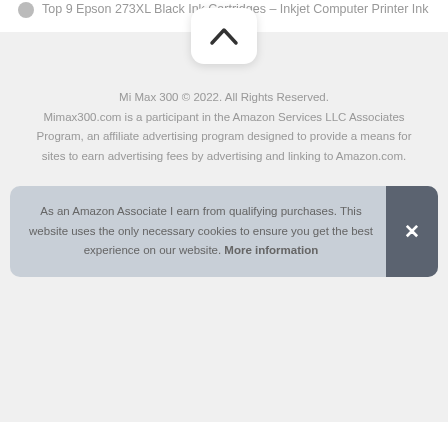Top 9 Epson 273XL Black Ink Cartridges – Inkjet Computer Printer Ink
[Figure (other): Back to top scroll button with upward chevron arrow on white rounded rectangle]
Mi Max 300 © 2022. All Rights Reserved. Mimax300.com is a participant in the Amazon Services LLC Associates Program, an affiliate advertising program designed to provide a means for sites to earn advertising fees by advertising and linking to Amazon.com.
As an Amazon Associate I earn from qualifying purchases. This website uses the only necessary cookies to ensure you get the best experience on our website. More information